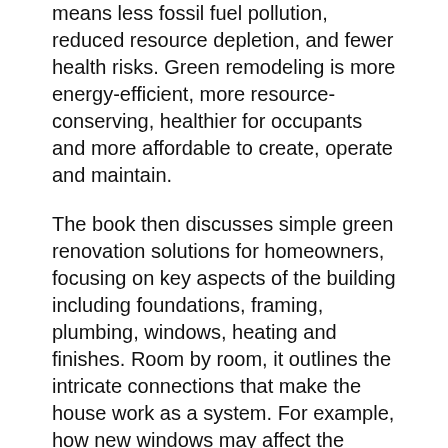means less fossil fuel pollution, reduced resource depletion, and fewer health risks. Green remodeling is more energy-efficient, more resource-conserving, healthier for occupants and more affordable to create, operate and maintain.
The book then discusses simple green renovation solutions for homeowners, focusing on key aspects of the building including foundations, framing, plumbing, windows, heating and finishes. Room by room, it outlines the intricate connections that make the house work as a system. For example, how new windows may affect the structure and mechanical systems of the rooms below, the health of the family, and the future of old-growth forests. Then, in an easy-to-read format complete with checklists, personal stories, expert insights and an extensive resource list, it covers easy ways to save energy, conserve natural resources, and protect the health of loved ones. Addressing all climates, this is a perfect resource for conventional homeowners